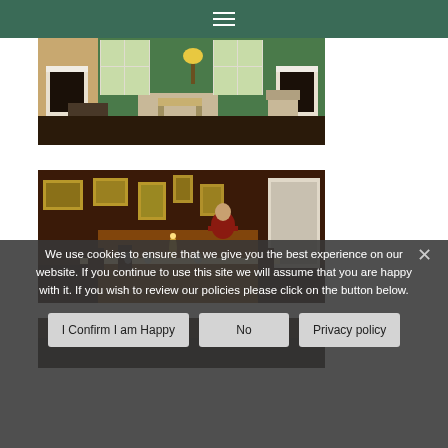≡ (hamburger menu)
[Figure (photo): Interior room with green walls, white fireplace mantels, large windows, wooden furniture including chairs and a bench]
[Figure (photo): Dining room with dark warm lighting, framed pictures on walls, person setting a formally laid table with candelabra]
[Figure (photo): Partial view of a dimly lit room, bottom portion visible]
We use cookies to ensure that we give you the best experience on our website. If you continue to use this site we will assume that you are happy with it. If you wish to review our policies please click on the button below.
I Confirm I am Happy | No | Privacy policy